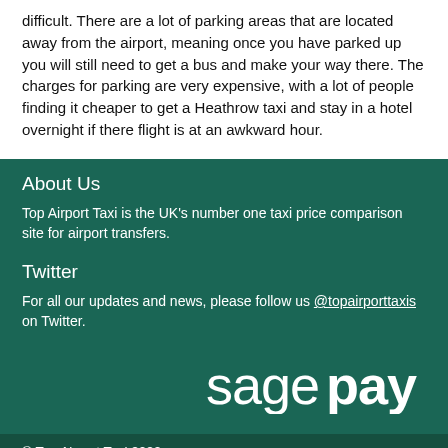difficult. There are a lot of parking areas that are located away from the airport, meaning once you have parked up you will still need to get a bus and make your way there. The charges for parking are very expensive, with a lot of people finding it cheaper to get a Heathrow taxi and stay in a hotel overnight if there flight is at an awkward hour.
About Us
Top Airport Taxi is the UK's number one taxi price comparison site for airport transfers.
Twitter
For all our updates and news, please follow us @topairporttaxis on Twitter.
[Figure (logo): Sage Pay logo in white text on dark green background]
© Top Airport Taxi 2022  About Us • Help • Terms & Conditions • Blog